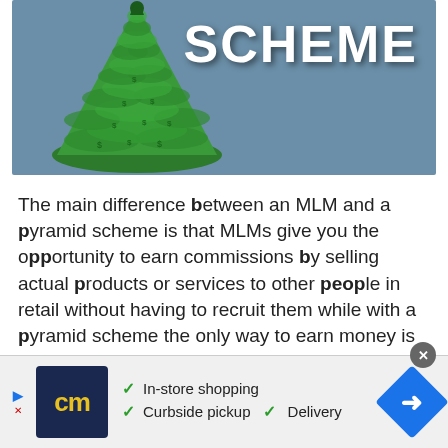[Figure (illustration): Illustration of a green money pyramid pile on a blue-gray background with the word SCHEME in large white bold text on the right side]
The main difference between an MLM and a pyramid scheme is that MLMs give you the opportunity to earn commissions by selling actual products or services to other people in retail without having to recruit them while with a pyramid scheme the only way to earn money is by recruiting other people into the scheme.
Since with Farmasi, you have the option to earn commissions by selling the company's
[Figure (other): Advertisement banner: CM logo (yellow text on dark blue), checkmarks for In-store shopping, Curbside pickup, and Delivery, with a blue navigation arrow icon on the right]